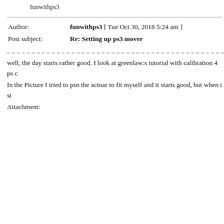funwithps3
| Field | Value |
| --- | --- |
| Author: | funwithps3 [ Tue Oct 30, 2018 5:24 am ] |
| Post subject: | Re: Setting up ps3 mover |
well, the day starts rather good. I look at greenlaw:s tutorial with calibration 4 ps c
In the Picture I tried to psn the actoar to fit myself and it starts good, but when i st
Attachment: